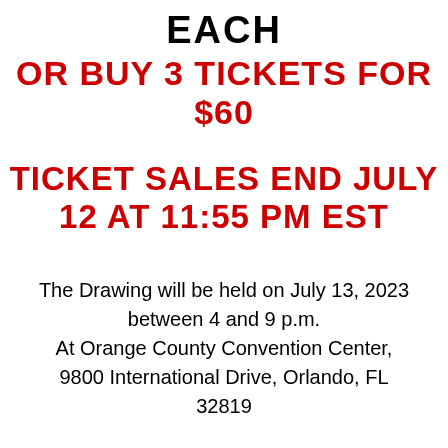EACH
OR BUY 3 TICKETS FOR $60
TICKET SALES END JULY 12 AT 11:55 PM EST
The Drawing will be held on July 13, 2023 between 4 and 9 p.m. At Orange County Convention Center, 9800 International Drive, Orlando, FL 32819